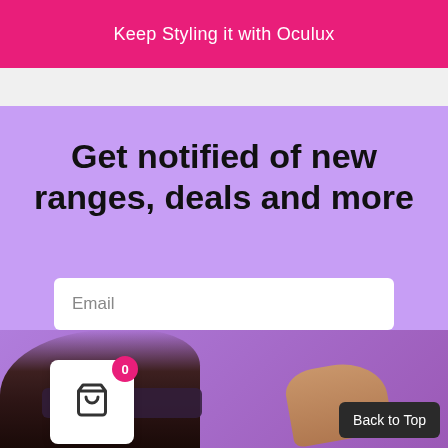Keep Styling it with Oculux
Get notified of new ranges, deals and more
Email
NOTIFY ME
0
[Figure (photo): Person wearing sunglasses pointing finger, partial view from bottom of page]
Back to Top